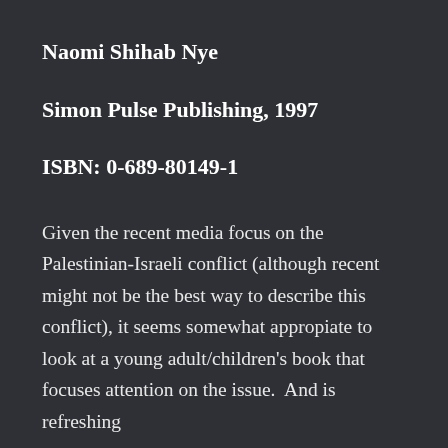Naomi Shihab Nye
Simon Pulse Publishing, 1997
ISBN: 0-689-80149-1
Given the recent media focus on the Palestinian-Israeli conflict (although recent might not be the best way to describe this conflict), it seems somewhat appropiate to look at a young adult/children's book that focuses attention on the issue.  And is refreshing